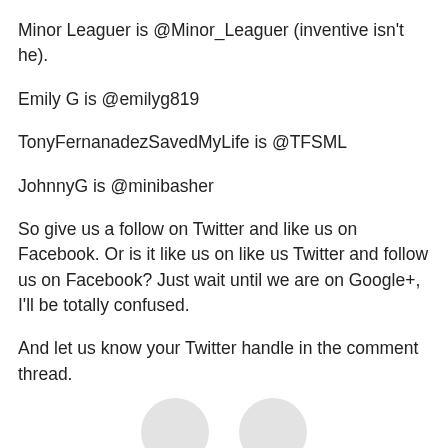Minor Leaguer is @Minor_Leaguer (inventive isn't he).
Emily G is @emilyg819
TonyFernanadezSavedMyLife is @TFSML
JohnnyG is @minibasher
So give us a follow on Twitter and like us on Facebook. Or is it like us on like us Twitter and follow us on Facebook? Just wait until we are on Google+, I'll be totally confused.
And let us know your Twitter handle in the comment thread.
[Figure (other): Two partially visible circular icon buttons at the bottom of the page]